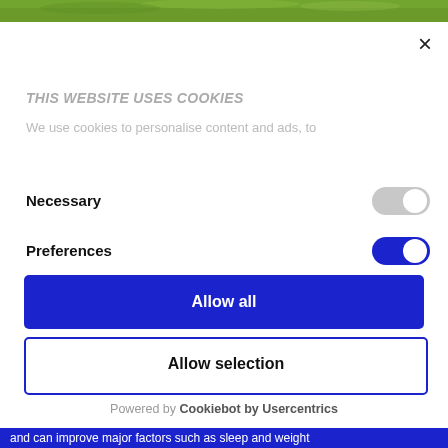[Figure (screenshot): Green nature/garden background photo strip at the top of the page]
×
THIS WEBSITE USES COOKIES
We use cookies to personalise content and ads, to
Necessary
Preferences
Allow all
Allow selection
Powered by Cookiebot by Usercentrics
and can improve major factors such as sleep and weight